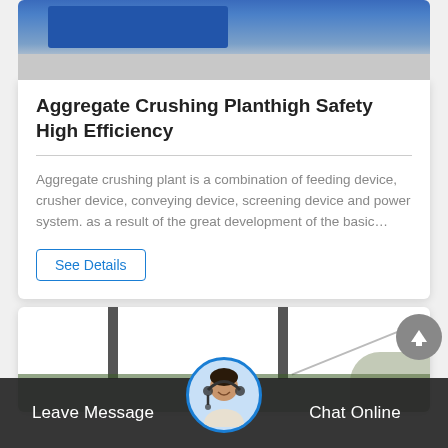[Figure (photo): Top portion of an aggregate crushing plant machine, blue equipment visible above a concrete floor]
Aggregate Crushing Planthigh Safety High Efficiency
Aggregate crushing plant is a combination of feeding device, crusher device, conveying device, screening device and power system. as a result of the great development of the basic…
See Details
[Figure (photo): Bottom card showing aggregate crushing plant machinery with poles and foliage]
Leave Message   Chat Online